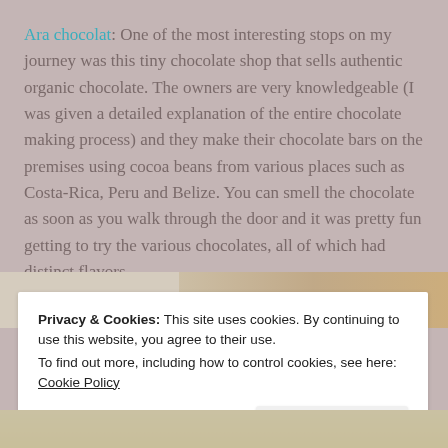Chocolate sampling at Ara chocolat: One of the most interesting stops on my journey was this tiny chocolate shop that sells authentic organic chocolate. The owners are very knowledgeable (I was given a detailed explanation of the entire chocolate making process) and they make their chocolate bars on the premises using cocoa beans from various places such as Costa-Rica, Peru and Belize. You can smell the chocolate as soon as you walk through the door and it was pretty fun getting to try the various chocolates, all of which had distinct flavors.
[Figure (photo): Partial view of a photo showing a person and warm-toned objects, partially obscured by cookie banner]
Privacy & Cookies: This site uses cookies. By continuing to use this website, you agree to their use.
To find out more, including how to control cookies, see here: Cookie Policy
Close and accept
[Figure (photo): Bottom portion of a photo showing what appears to be glasses or transparent objects on a surface]